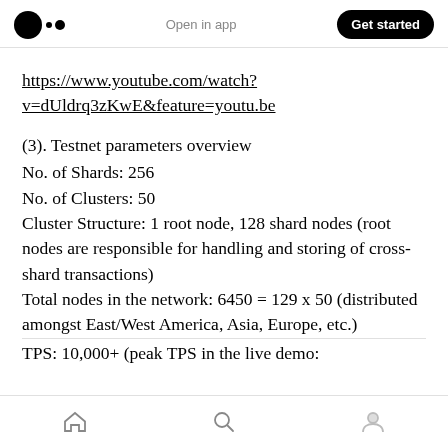Open in app | Get started
https://www.youtube.com/watch?v=dUldrq3zKwE&feature=youtu.be
(3). Testnet parameters overview
No. of Shards: 256
No. of Clusters: 50
Cluster Structure: 1 root node, 128 shard nodes (root nodes are responsible for handling and storing of cross-shard transactions)
Total nodes in the network: 6450 = 129 x 50 (distributed amongst East/West America, Asia, Europe, etc.)
TPS: 10,000+ (peak TPS in the live demo:
Home | Search | Profile